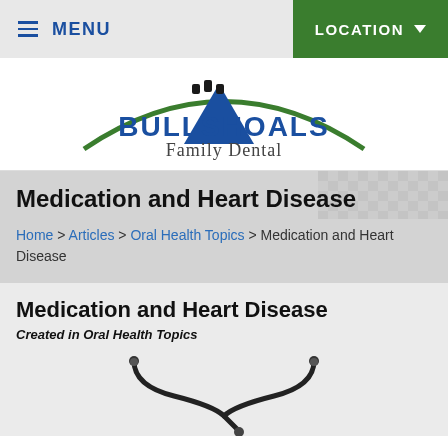≡ MENU   LOCATION ▾
[Figure (logo): Bull Shoals Family Dental logo with green arc, blue triangle/tooth shape, and text 'BULLSHOALS Family Dental']
Medication and Heart Disease
Home > Articles > Oral Health Topics > Medication and Heart Disease
Medication and Heart Disease
Created in Oral Health Topics
[Figure (photo): Stethoscope on white/light background]